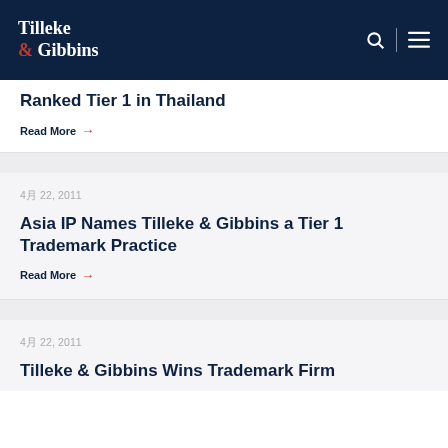Tilleke & Gibbins
Ranked Tier 1 in Thailand
Read More →
4月 22, 2011
Asia IP Names Tilleke & Gibbins a Tier 1 Trademark Practice
Read More →
4月 22, 2011
Tilleke & Gibbins Wins Trademark Firm of the...